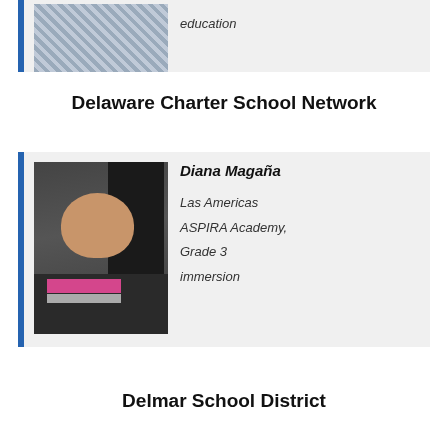[Figure (photo): Partial view of a person in a blue checkered shirt and tie, cropped at the top of the page]
education
Delaware Charter School Network
[Figure (photo): Portrait photo of Diana Magaña, a woman with long dark hair, wearing a striped scarf]
Diana Magaña
Las Americas ASPIRA Academy, Grade 3 immersion
Delmar School District